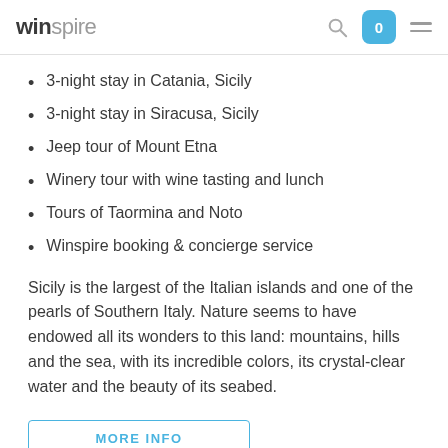winspire
3-night stay in Catania, Sicily
3-night stay in Siracusa, Sicily
Jeep tour of Mount Etna
Winery tour with wine tasting and lunch
Tours of Taormina and Noto
Winspire booking & concierge service
Sicily is the largest of the Italian islands and one of the pearls of Southern Italy. Nature seems to have endowed all its wonders to this land: mountains, hills and the sea, with its incredible colors, its crystal-clear water and the beauty of its seabed.
MORE INFO